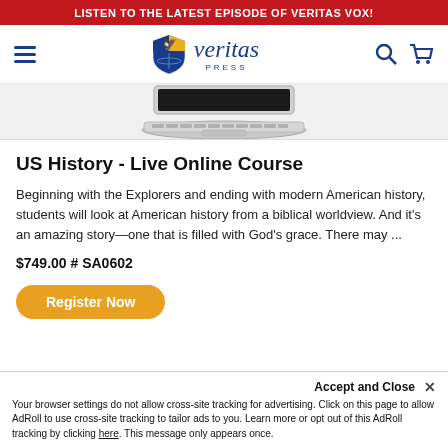LISTEN TO THE LATEST EPISODE OF VERITAS VOX!
[Figure (logo): Veritas Press logo with shield icon, brand name in italic, and PRESS subtitle]
[Figure (photo): Laptop computer partially visible from above, showing keyboard]
US History - Live Online Course
Beginning with the Explorers and ending with modern American history, students will look at American history from a biblical worldview. And it's an amazing story—one that is filled with God's grace. There may ...
$749.00  # SA0602
Register Now
Accept and Close ×
Your browser settings do not allow cross-site tracking for advertising. Click on this page to allow AdRoll to use cross-site tracking to tailor ads to you. Learn more or opt out of this AdRoll tracking by clicking here. This message only appears once.